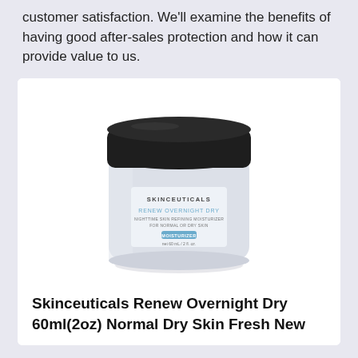customer satisfaction. We'll examine the benefits of having good after-sales protection and how it can provide value to us.
[Figure (photo): A jar of SkinCeuticals Renew Overnight Dry moisturizer with a black lid, white/light grey jar body with product label showing brand name, product name, and description.]
Skinceuticals Renew Overnight Dry 60ml(2oz) Normal Dry Skin Fresh New